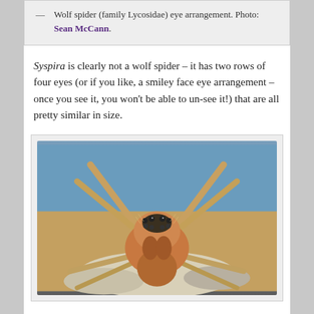— Wolf spider (family Lycosidae) eye arrangement. Photo: Sean McCann.
Syspira is clearly not a wolf spider – it has two rows of four eyes (or if you like, a smiley face eye arrangement – once you see it, you won't be able to un-see it!) that are all pretty similar in size.
[Figure (photo): Close-up macro photograph of a Syspira spider (family Corinnidae or similar) viewed face-on, showing its eight eyes arranged in two rows of four, tan/orange-brown body and legs, against a blue background, resting on pale rocky substrate.]